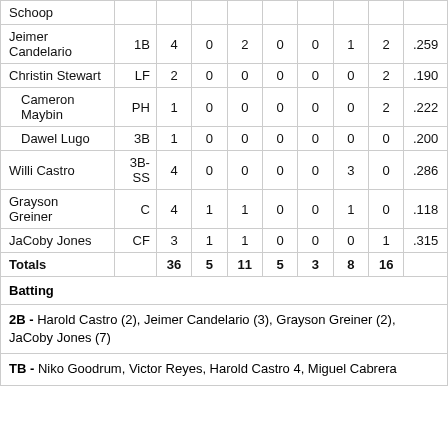| Player | Pos | AB | R | H | RBI | BB | SO | LOB | AVG |
| --- | --- | --- | --- | --- | --- | --- | --- | --- | --- |
| Schoop |  |  |  |  |  |  |  |  |  |
| Jeimer Candelario | 1B | 4 | 0 | 2 | 0 | 0 | 1 | 2 | .259 |
| Christin Stewart | LF | 2 | 0 | 0 | 0 | 0 | 0 | 2 | .190 |
| Cameron Maybin | PH | 1 | 0 | 0 | 0 | 0 | 0 | 2 | .222 |
| Dawel Lugo | 3B | 1 | 0 | 0 | 0 | 0 | 0 | 0 | .200 |
| Willi Castro | 3B-SS | 4 | 0 | 0 | 0 | 0 | 3 | 0 | .286 |
| Grayson Greiner | C | 4 | 1 | 1 | 0 | 0 | 1 | 0 | .118 |
| JaCoby Jones | CF | 3 | 1 | 1 | 0 | 0 | 0 | 1 | .315 |
| Totals |  | 36 | 5 | 11 | 5 | 3 | 8 | 16 |  |
Batting
2B - Harold Castro (2), Jeimer Candelario (3), Grayson Greiner (2), JaCoby Jones (7)
TB - Niko Goodrum, Victor Reyes, Harold Castro 4, Miguel Cabrera